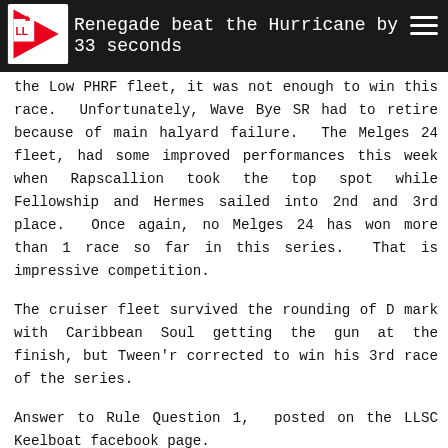Renegade beat the Hurricane by 33 seconds
the Low PHRF fleet, it was not enough to win this race.  Unfortunately, Wave Bye SR had to retire because of main halyard failure.  The Melges 24 fleet, had some improved performances this week when Rapscallion took the top spot while Fellowship and Hermes sailed into 2nd and 3rd place.  Once again, no Melges 24 has won more than 1 race so far in this series.  That is impressive competition.
The cruiser fleet survived the rounding of D mark with Caribbean Soul getting the gun at the finish, but Tween'r corrected to win his 3rd race of the series.
Answer to Rule Question 1,  posted on the LLSC Keelboat facebook page.